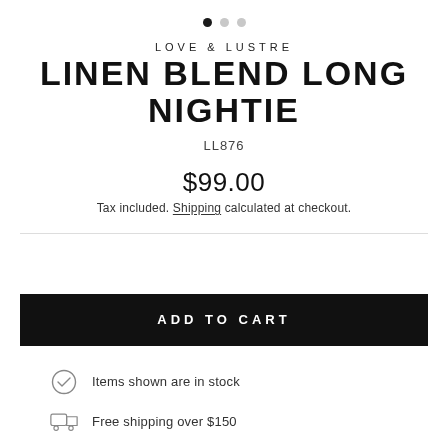[Figure (other): Three navigation dots: one filled black, two grey]
LOVE & LUSTRE
LINEN BLEND LONG NIGHTIE
LL876
$99.00
Tax included. Shipping calculated at checkout.
ADD TO CART
Items shown are in stock
Free shipping over $150